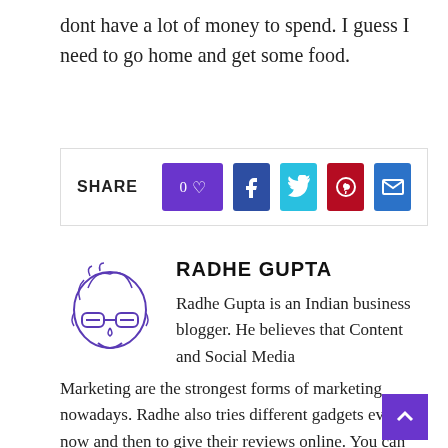dont have a lot of money to spend. I guess I need to go home and get some food.
[Figure (infographic): Share bar with like count (0), Facebook, Twitter, Pinterest, and email buttons]
RADHE GUPTA
[Figure (illustration): Line drawing avatar of a person with glasses, smiling]
Radhe Gupta is an Indian business blogger. He believes that Content and Social Media Marketing are the strongest forms of marketing nowadays. Radhe also tries different gadgets every now and then to give their reviews online. You can connect with him...
[Figure (infographic): Social icons: globe, Facebook, Twitter, email]